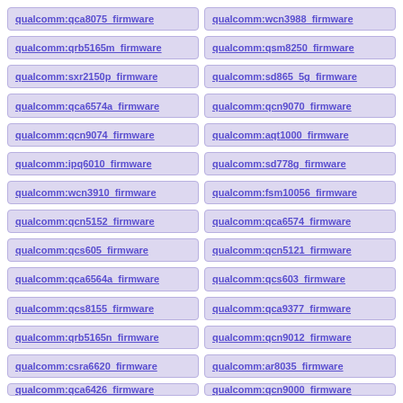qualcomm:qca8075_firmware
qualcomm:wcn3988_firmware
qualcomm:qrb5165m_firmware
qualcomm:qsm8250_firmware
qualcomm:sxr2150p_firmware
qualcomm:sd865_5g_firmware
qualcomm:qca6574a_firmware
qualcomm:qcn9070_firmware
qualcomm:qcn9074_firmware
qualcomm:aqt1000_firmware
qualcomm:ipq6010_firmware
qualcomm:sd778g_firmware
qualcomm:wcn3910_firmware
qualcomm:fsm10056_firmware
qualcomm:qcn5152_firmware
qualcomm:qca6574_firmware
qualcomm:qcs605_firmware
qualcomm:qcn5121_firmware
qualcomm:qca6564a_firmware
qualcomm:qcs603_firmware
qualcomm:qcs8155_firmware
qualcomm:qca9377_firmware
qualcomm:qrb5165n_firmware
qualcomm:qcn9012_firmware
qualcomm:csra6620_firmware
qualcomm:ar8035_firmware
qualcomm:qca6426_firmware
qualcomm:qcn9000_firmware